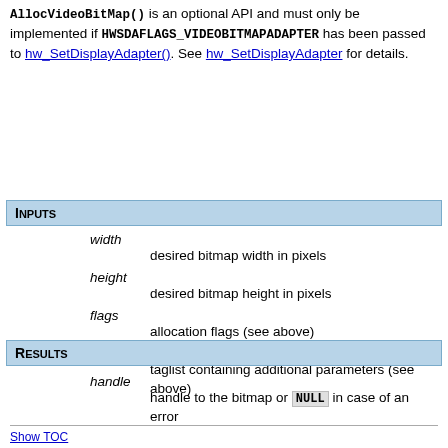AllocVideoBitMap() is an optional API and must only be implemented if HWSDAFLAGS_VIDEOBITMAPADAPTER has been passed to hw_SetDisplayAdapter(). See hw_SetDisplayAdapter for details.
Inputs
width — desired bitmap width in pixels
height — desired bitmap height in pixels
flags — allocation flags (see above)
tags — taglist containing additional parameters (see above)
Results
handle — handle to the bitmap or NULL in case of an error
Show TOC